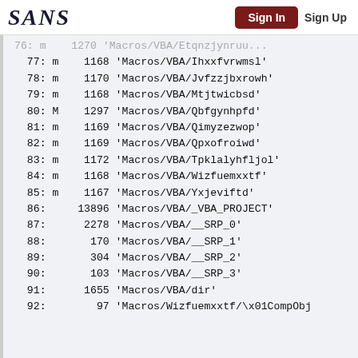SANS | Sign In | Sign Up
77: m    1168 'Macros/VBA/Ihxxfvrwmsl'
78: m    1170 'Macros/VBA/Jvfzzjbxrowh'
79: m    1168 'Macros/VBA/Mtjtwicbsd'
80: M    1297 'Macros/VBA/Qbfgynhpfd'
81: m    1169 'Macros/VBA/Qimyzezwop'
82: m    1169 'Macros/VBA/Qpxofroiwd'
83: m    1172 'Macros/VBA/Tpklalyhfljol'
84: m    1168 'Macros/VBA/Wizfuemxxtf'
85: m    1167 'Macros/VBA/Yxjeviftd'
86:     13896 'Macros/VBA/_VBA_PROJECT'
87:      2278 'Macros/VBA/__SRP_0'
88:       170 'Macros/VBA/__SRP_1'
89:       304 'Macros/VBA/__SRP_2'
90:       103 'Macros/VBA/__SRP_3'
91:      1655 'Macros/VBA/dir'
92:        97 'Macros/Wizfuemxxtf/\x01CompObj'